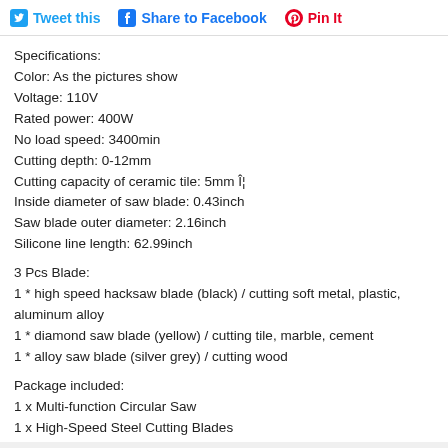Tweet this  Share to Facebook  Pin It
Specifications:
Color: As the pictures show
Voltage: 110V
Rated power: 400W
No load speed: 3400min
Cutting depth: 0-12mm
Cutting capacity of ceramic tile: 5mm Î¦
Inside diameter of saw blade: 0.43inch
Saw blade outer diameter: 2.16inch
Silicone line length: 62.99inch
3 Pcs Blade:
1 * high speed hacksaw blade (black) / cutting soft metal, plastic, aluminum alloy
1 * diamond saw blade (yellow) / cutting tile, marble, cement
1 * alloy saw blade (silver grey) / cutting wood
Package included:
1 x Multi-function Circular Saw
1 x High-Speed Steel Cutting Blades
1 x Tungsten Carbide Cutting Blades
1 x Diamond Cutting Blades
1 x Dust Extraction Hose
1 x Parallel Guide Rail
1 x instructions
1 x Large Hex Wrench
1 x Small Hex Wrench